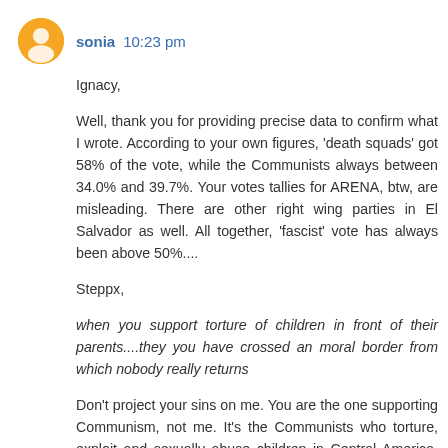sonia 10:23 pm
Ignacy,

Well, thank you for providing precise data to confirm what I wrote. According to your own figures, 'death squads' got 58% of the vote, while the Communists always between 34.0% and 39.7%. Your votes tallies for ARENA, btw, are misleading. There are other right wing parties in El Salvador as well. All together, 'fascist' vote has always been above 50%....

Steppx,

when you support torture of children in front of their parents....they you have crossed an moral border from which nobody really returns

Don't project your sins on me. You are the one supporting Communism, not me. It's the Communists who torture, exploit and sexually abuse children in Central America, not anti-Communists...